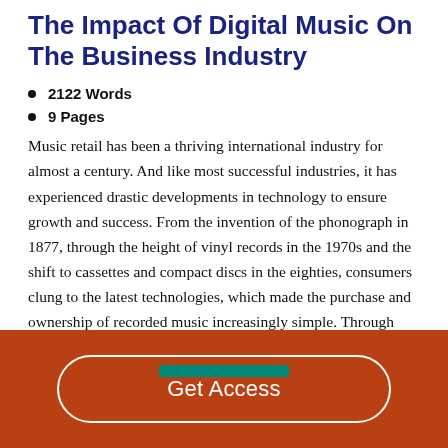The Impact Of Digital Music On The Business Industry
2122 Words
9 Pages
Music retail has been a thriving international industry for almost a century. And like most successful industries, it has experienced drastic developments in technology to ensure growth and success. From the invention of the phonograph in 1877, through the height of vinyl records in the 1970s and the shift to cassettes and compact discs in the eighties, consumers clung to the latest technologies, which made the purchase and ownership of recorded music increasingly simple. Through each of these…
Get Access